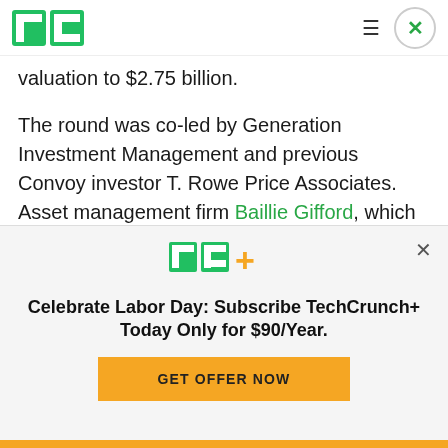TechCrunch logo with hamburger menu and close button
valuation to $2.75 billion.
The round was co-led by Generation Investment Management and previous Convoy investor T. Rowe Price Associates. Asset management firm Baillie Gifford, which has fondness for pre-IPO tech companies, Fidelity and Durable
[Figure (logo): TechCrunch TC+ logo in green and yellow]
Celebrate Labor Day: Subscribe TechCrunch+ Today Only for $90/Year.
GET OFFER NOW